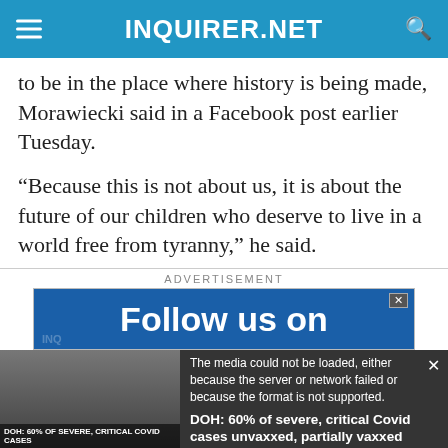INQUIRER.NET
to be in the place where history is being made, Morawiecki said in a Facebook post earlier Tuesday.
“Because this is not about us, it is about the future of our children who deserve to live in a world free from tyranny,” he said.
ADVERTISEMENT
[Figure (screenshot): Advertisement banner reading 'Follow us on' in white bold text on blue background]
[Figure (screenshot): Video player overlay showing error message: 'The media could not be loaded, either because the server or network failed or because the format is not supported.' with video thumbnail showing text 'DOH: 60% OF SEVERE, CRITICAL COVID CASES UNVAXXED, PARTIALLY VAXXED INDIVIDUALS' and sidebar text 'DOH: 60% of severe, critical Covid cases unvaxxed, partially vaxxed individuals']